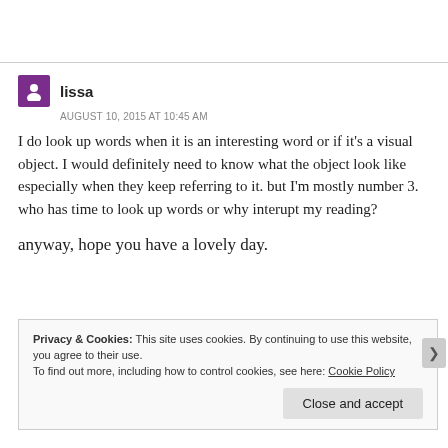[Figure (other): Horizontal divider line separating page sections]
[Figure (illustration): Purple avatar icon with white person silhouette]
lissa
AUGUST 10, 2015 AT 10:45 AM
I do look up words when it is an interesting word or if it's a visual object. I would definitely need to know what the object look like especially when they keep referring to it. but I'm mostly number 3. who has time to look up words or why interupt my reading?
anyway, hope you have a lovely day.
Privacy & Cookies: This site uses cookies. By continuing to use this website, you agree to their use.
To find out more, including how to control cookies, see here: Cookie Policy